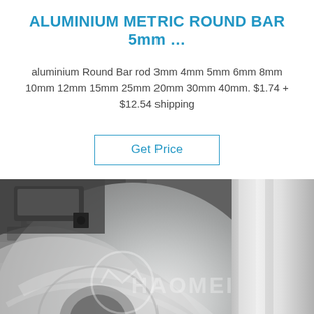ALUMINIUM METRIC ROUND BAR 5mm …
aluminium Round Bar rod 3mm 4mm 5mm 6mm 8mm 10mm 12mm 15mm 25mm 20mm 30mm 40mm. $1.74 + $12.54 shipping
Get Price
[Figure (photo): Close-up photo of shiny aluminium metal coil or sheet rolls with HAOMEI watermark logo]